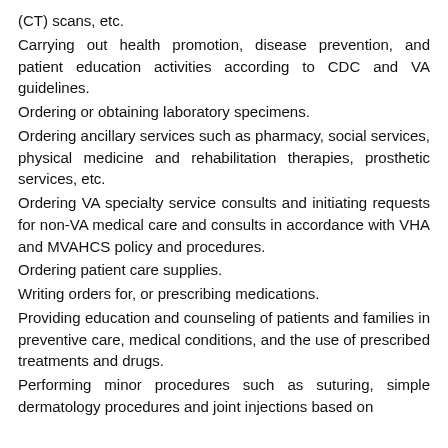(CT) scans, etc.
Carrying out health promotion, disease prevention, and patient education activities according to CDC and VA guidelines.
Ordering or obtaining laboratory specimens.
Ordering ancillary services such as pharmacy, social services, physical medicine and rehabilitation therapies, prosthetic services, etc.
Ordering VA specialty service consults and initiating requests for non-VA medical care and consults in accordance with VHA and MVAHCS policy and procedures.
Ordering patient care supplies.
Writing orders for, or prescribing medications.
Providing education and counseling of patients and families in preventive care, medical conditions, and the use of prescribed treatments and drugs.
Performing minor procedures such as suturing, simple dermatology procedures and joint injections based on